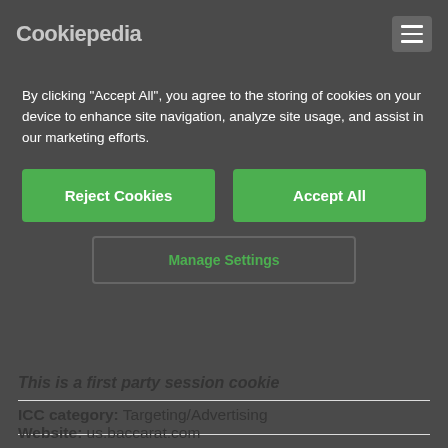Cookiepedia
By clicking "Accept All", you agree to the storing of cookies on your device to enhance site navigation, analyze site usage, and assist in our marketing efforts.
Reject Cookies | Accept All | Manage Settings
This is a first party session cookie
ICC category: Targeting/Advertising
Website: us.baccarat.com
See all cookies on this website